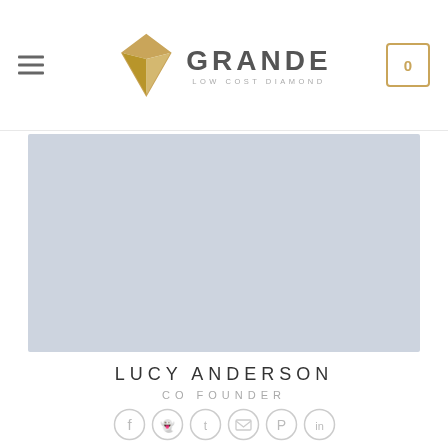GRANDE LOW COST DIAMOND
[Figure (photo): Placeholder portrait photo area with light blue-grey background]
LUCY ANDERSON
CO FOUNDER
[Figure (other): Row of 6 social media icons: Facebook, Snapchat, Twitter, Email, Pinterest, LinkedIn]
Lorem ipsum dolor sit amet, consectetur